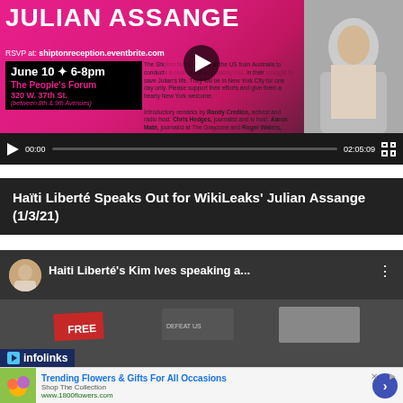[Figure (screenshot): Video player showing Julian Assange event promotional image with pink/magenta background, event details for June 10 6-8pm at The People's Forum 320 W. 37th St., RSVP at shiptonreception.eventbrite.com, speakers including Randy Credico, Chris Hedges, Aaron Maté, Roger Waters. Video duration 02:05:09.]
Haïti Liberté Speaks Out for WikiLeaks' Julian Assange (1/3/21)
[Figure (screenshot): YouTube video thumbnail showing Haiti Liberté's Kim Ives speaking at a rally with protest signs including FREE visible. Avatar of speaker in top left.]
infolinks
Trending Flowers & Gifts For All Occasions
Shop The Collection
www.1800flowers.com